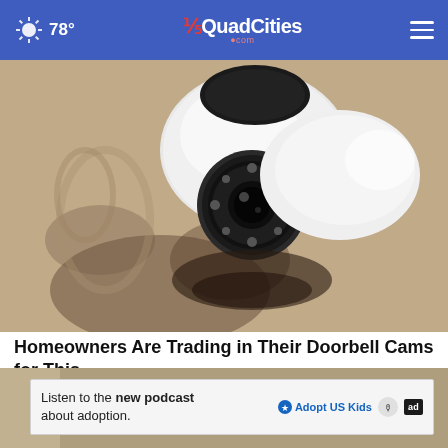78° QuadCities.com
[Figure (photo): Close-up photo of a white dome security camera mounted on a wall with shadows visible behind it]
Homeowners Are Trading in Their Doorbell Cams for This.
Keilini.com
[Figure (photo): Partial photo visible at bottom of page]
Listen to the new podcast about adoption.